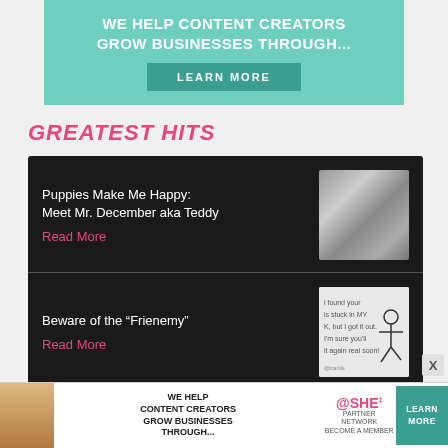[Figure (infographic): Teal/turquoise banner ad: 'WE HELP CONTENT CREATORS GROW BUSINESSES THROUGH...' with a dark teal 'LEARN MORE' button]
GREATEST HITS
Puppies Make Me Happy: Meet Mr. December aka Teddy
Read More
[Figure (photo): Collage of puppy/dog images]
Beware of the “Frienemy”
Read More
[Figure (illustration): Frienemy illustration with text about being stuck]
I Am A Shorty Awards Finalist in Blogger: MelanysCuydlines
[Figure (logo): Shorty Awards teal logo]
[Figure (infographic): Bottom ad banner: WE HELP CONTENT CREATORS GROW BUSINESSES THROUGH... SHE PARTNER NETWORK BECOME A MEMBER, with LEARN MORE button]